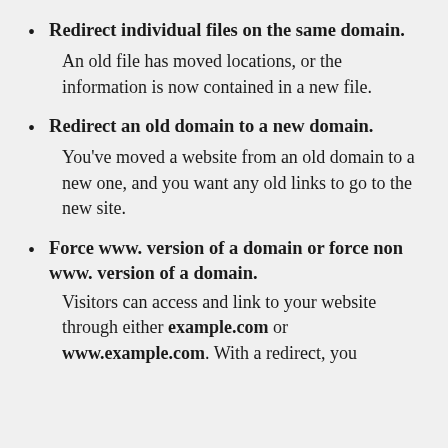Redirect individual files on the same domain.

An old file has moved locations, or the information is now contained in a new file.
Redirect an old domain to a new domain.

You've moved a website from an old domain to a new one, and you want any old links to go to the new site.
Force www. version of a domain or force non www. version of a domain.

Visitors can access and link to your website through either example.com or www.example.com. With a redirect, you